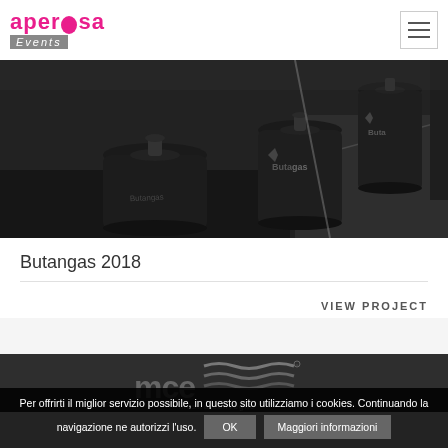aperosa Events
[Figure (photo): Black and white photo of black Butangas gas cylinders arranged on a dark surface]
Butangas 2018
VIEW PROJECT
[Figure (logo): MCE mostra convegno logo on dark background]
Per offrirti il miglior servizio possibile, in questo sito utilizziamo i cookies. Continuando la navigazione ne autorizzi l'uso. OK Maggiori informazioni